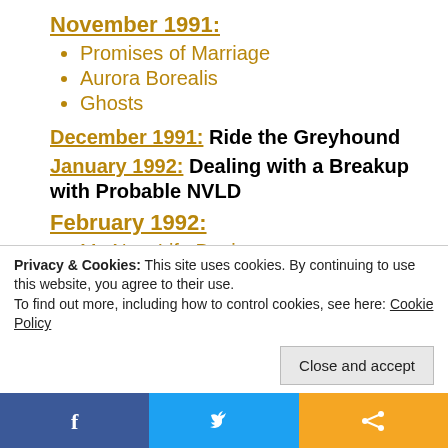November 1991:
Promises of Marriage
Aurora Borealis
Ghosts
December 1991: Ride the Greyhound
January 1992: Dealing with a Breakup with Probable NVLD
February 1992:
My New Life Begins
The Great Zipper Caper
Shawn Makes his Move
Privacy & Cookies: This site uses cookies. By continuing to use this website, you agree to their use. To find out more, including how to control cookies, see here: Cookie Policy
Share bar: Facebook, Twitter, Share